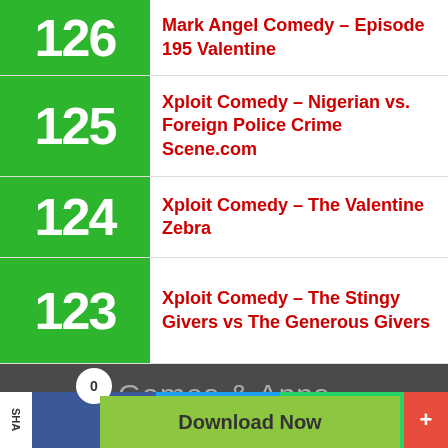126 Mark Angel Comedy – Episode 195 Valentine
125 Xploit Comedy – Nigerian vs. Foreign Police Crime Scene.com
124 Xploit Comedy – The Valentine Zebra
123 Xploit Comedy – The Stingy Givers vs The Generous Givers
Games & Apps
Symbian Apps   Java Apps   Android Apps
Download Now